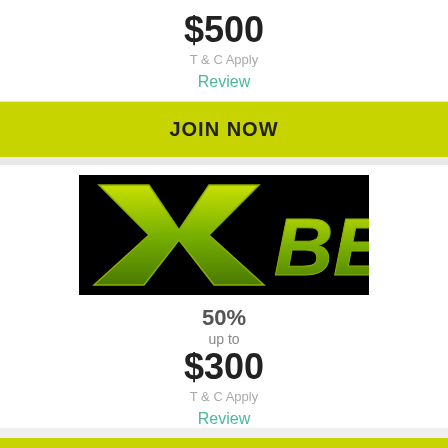$500
T & C Apply
Review
JOIN NOW
[Figure (logo): XBET logo on black background with green stylized X and BET text]
50%
up to
$300
T & C Apply
Review
JOIN NOW